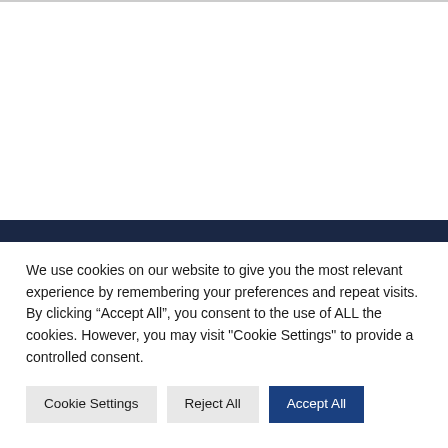We use cookies on our website to give you the most relevant experience by remembering your preferences and repeat visits. By clicking “Accept All”, you consent to the use of ALL the cookies. However, you may visit "Cookie Settings" to provide a controlled consent.
Cookie Settings | Reject All | Accept All